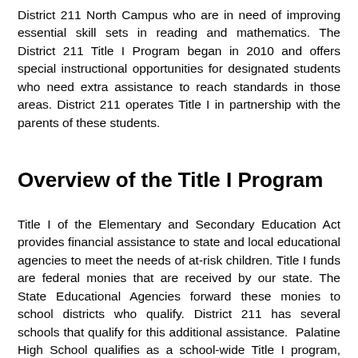District 211 North Campus who are in need of improving essential skill sets in reading and mathematics. The District 211 Title I Program began in 2010 and offers special instructional opportunities for designated students who need extra assistance to reach standards in those areas. District 211 operates Title I in partnership with the parents of these students.
Overview of the Title I Program
Title I of the Elementary and Secondary Education Act provides financial assistance to state and local educational agencies to meet the needs of at-risk children. Title I funds are federal monies that are received by our state. The State Educational Agencies forward these monies to school districts who qualify. District 211 has several schools that qualify for this additional assistance.  Palatine High School qualifies as a school-wide Title I program, meaning that all students at Palatine High School can benefit from these services.